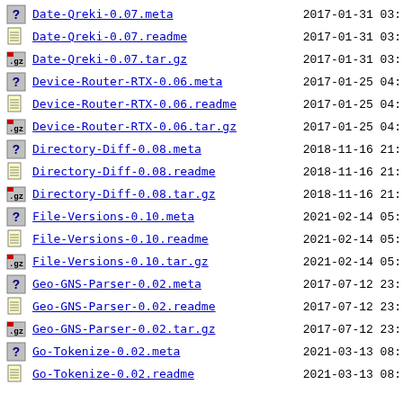Date-Qreki-0.07.meta  2017-01-31 03:
Date-Qreki-0.07.readme  2017-01-31 03:
Date-Qreki-0.07.tar.gz  2017-01-31 03:
Device-Router-RTX-0.06.meta  2017-01-25 04:
Device-Router-RTX-0.06.readme  2017-01-25 04:
Device-Router-RTX-0.06.tar.gz  2017-01-25 04:
Directory-Diff-0.08.meta  2018-11-16 21:
Directory-Diff-0.08.readme  2018-11-16 21:
Directory-Diff-0.08.tar.gz  2018-11-16 21:
File-Versions-0.10.meta  2021-02-14 05:
File-Versions-0.10.readme  2021-02-14 05:
File-Versions-0.10.tar.gz  2021-02-14 05:
Geo-GNS-Parser-0.02.meta  2017-07-12 23:
Geo-GNS-Parser-0.02.readme  2017-07-12 23:
Geo-GNS-Parser-0.02.tar.gz  2017-07-12 23:
Go-Tokenize-0.02.meta  2021-03-13 08:
Go-Tokenize-0.02.readme  2021-03-13 08: